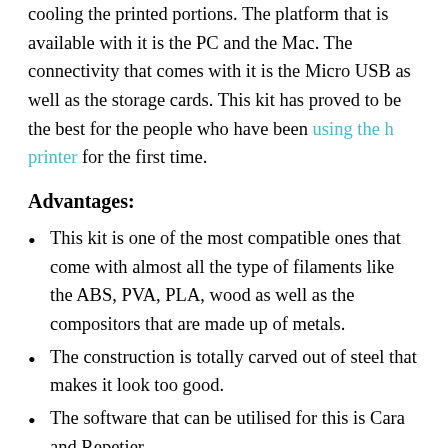cooling the printed portions. The platform that is available with it is the PC and the Mac. The connectivity that comes with it is the Micro USB as well as the storage cards. This kit has proved to be the best for the people who have been using the h printer for the first time.
Advantages:
This kit is one of the most compatible ones that come with almost all the type of filaments like the ABS, PVA, PLA, wood as well as the compositors that are made up of metals.
The construction is totally carved out of steel that makes it look too good.
The software that can be utilised for this is Cara and Repetier.